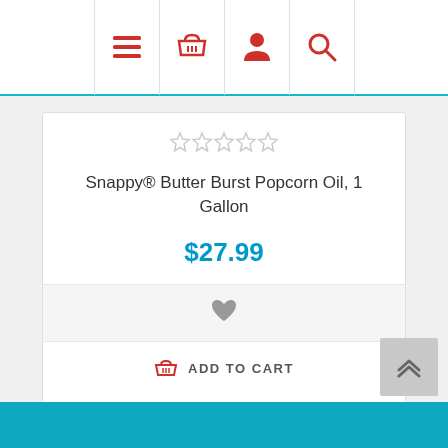[Figure (screenshot): Top navigation bar with hamburger menu, shopping basket, user profile, and search icons in red on white background]
Snappy® Butter Burst Popcorn Oil, 1 Gallon
$27.99
[Figure (other): Gray heart/wishlist icon]
ADD TO CART
Footer bar in teal/blue color